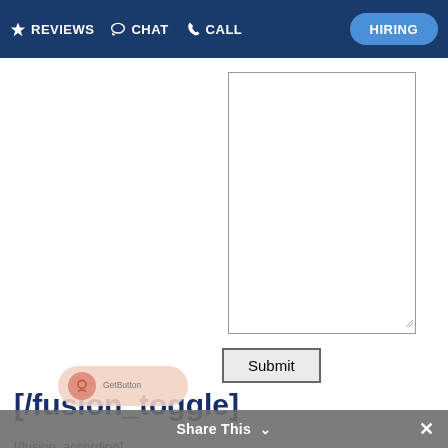REVIEWS  CHAT  CALL  HIRING
[Figure (screenshot): A textarea input box (form element) with resize handle in bottom-right corner]
Submit
[/fusion_toggle]
[/fusion_accordion]
[fusion_builder_column type="1_1" background_position="left top" background_color="" border_size="" border_color="" border_style="solid" spacing="yes" background_image="" background_repeat="no-repeat" padding="" margin_top="0px" margin_bottom="0px" class="" id="" animation_type="" animation_speed="0.3" animation_direction="left"
Share This